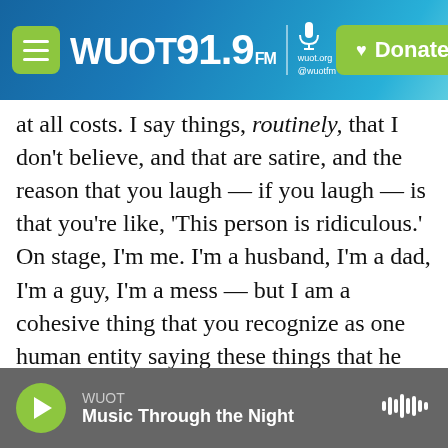WUOT 91.9 FM | wuot.org @wuotfm | Donate
at all costs. I say things, routinely, that I don't believe, and that are satire, and the reason that you laugh — if you laugh — is that you're like, 'This person is ridiculous.' On stage, I'm me. I'm a husband, I'm a dad, I'm a guy, I'm a mess — but I am a cohesive thing that you recognize as one human entity saying these things that he generally believes. So I might make fun of Donald Trump on Twitter, 'cause that's fun and easy, and something for a lazy person to do while they wait for a sandwich at a deli. But then, that's not going to work on stage. Who cares? You want to get much deeper and talk about much more visceral
WUOT | Music Through the Night